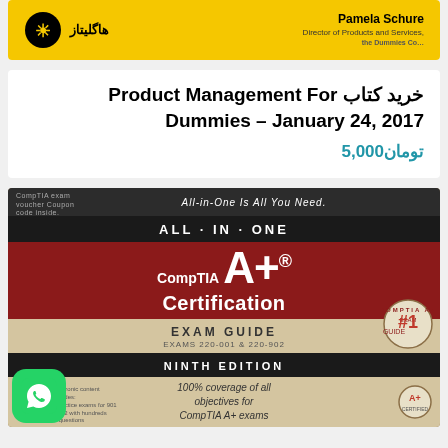[Figure (photo): Book cover image of 'Product Management For Dummies' with yellow Dummies branding, author Pamela Schure, Director of Products and Services]
خرید کتاب Product Management For Dummies – January 24, 2017
تومان5,000
[Figure (photo): Book cover of CompTIA A+ Certification All-In-One Exam Guide, Ninth Edition, Exams 220-001 & 220-902, with #1 badge. WhatsApp icon overlay at bottom left.]